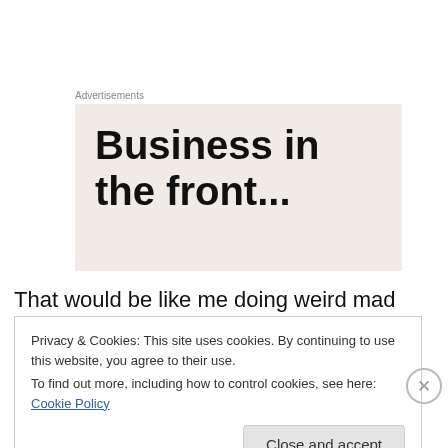Advertisements
[Figure (other): Advertisement placeholder with bold text 'Business in the front...' on a light beige/gray background]
That would be like me doing weird mad scientist stuff to make sure the cheeseburger I had today is sentient before I ate it. I just need the protein and the pretense of a few
Privacy & Cookies: This site uses cookies. By continuing to use this website, you agree to their use.
To find out more, including how to control cookies, see here: Cookie Policy
Close and accept